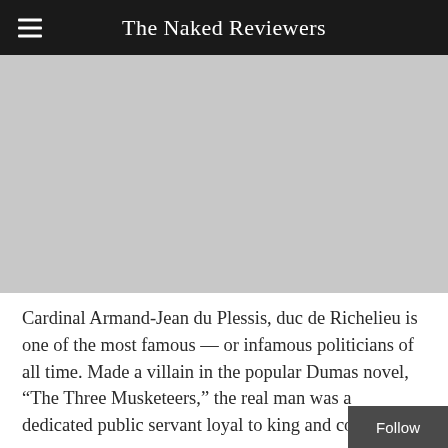The Naked Reviewers
[Figure (other): Gray rectangular placeholder area, likely an advertisement or image placeholder]
Cardinal Armand-Jean du Plessis, duc de Richelieu is one of the most famous — or infamous politicians of all time. Made a villain in the popular Dumas novel, “The Three Musketeers,” the real man was a dedicated public servant loyal to king and coun…